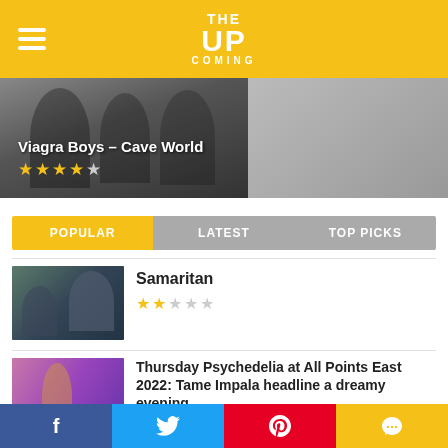THE UPCOMING
[Figure (photo): Hero image: Viagra Boys – Cave World album review with a black and white band photo and star rating of 4/5]
Viagra Boys – Cave World ★★★★☆
POPULAR | LATEST | TOP PICKS
[Figure (photo): Thumbnail image for Samaritan review]
Samaritan ★★☆☆☆
[Figure (photo): Thumbnail image for Thursday Psychedelia at All Points East 2022 review]
Thursday Psychedelia at All Points East 2022: Tame Impala headline a dreamy evening ★★★★☆
[Figure (photo): Thumbnail image for Edinburgh Fringe 2022: Circus Abyssinia review]
Edinburgh Fringe 2022: Circus Abyssinia
f  Twitter  Pinterest  Comment